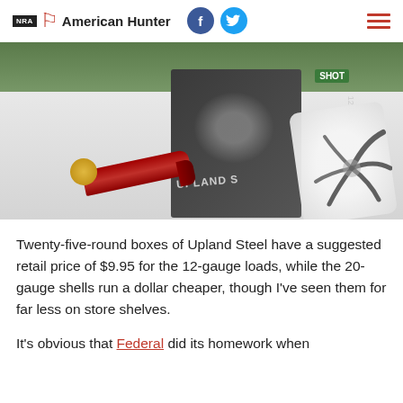NRA American Hunter
[Figure (photo): A red 12-gauge shotgun shell lying in front of a dark box labeled 'Upland Steel' with a bird illustration, next to a white target paper showing a shot pattern, on a white surface with grass in the background.]
Twenty-five-round boxes of Upland Steel have a suggested retail price of $9.95 for the 12-gauge loads, while the 20-gauge shells run a dollar cheaper, though I've seen them for far less on store shelves.
It's obvious that Federal did its homework when